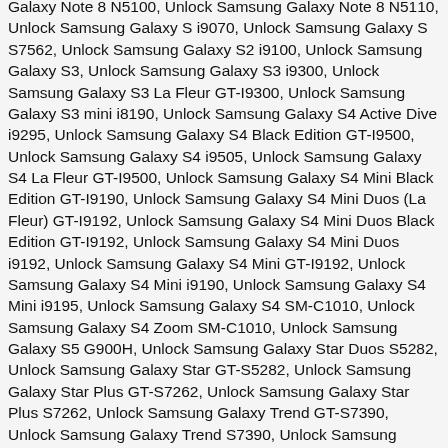Galaxy Note 8 N5100, Unlock Samsung Galaxy Note 8 N5110, Unlock Samsung Galaxy S i9070, Unlock Samsung Galaxy S S7562, Unlock Samsung Galaxy S2 i9100, Unlock Samsung Galaxy S3, Unlock Samsung Galaxy S3 i9300, Unlock Samsung Galaxy S3 La Fleur GT-I9300, Unlock Samsung Galaxy S3 mini i8190, Unlock Samsung Galaxy S4 Active Dive i9295, Unlock Samsung Galaxy S4 Black Edition GT-I9500, Unlock Samsung Galaxy S4 i9505, Unlock Samsung Galaxy S4 La Fleur GT-I9500, Unlock Samsung Galaxy S4 Mini Black Edition GT-I9190, Unlock Samsung Galaxy S4 Mini Duos (La Fleur) GT-I9192, Unlock Samsung Galaxy S4 Mini Duos Black Edition GT-I9192, Unlock Samsung Galaxy S4 Mini Duos i9192, Unlock Samsung Galaxy S4 Mini GT-I9192, Unlock Samsung Galaxy S4 Mini i9190, Unlock Samsung Galaxy S4 Mini i9195, Unlock Samsung Galaxy S4 SM-C1010, Unlock Samsung Galaxy S4 Zoom SM-C1010, Unlock Samsung Galaxy S5 G900H, Unlock Samsung Galaxy Star Duos S5282, Unlock Samsung Galaxy Star GT-S5282, Unlock Samsung Galaxy Star Plus GT-S7262, Unlock Samsung Galaxy Star Plus S7262, Unlock Samsung Galaxy Trend GT-S7390, Unlock Samsung Galaxy Trend S7390, Unlock Samsung Galaxy Win Duos i8552, Unlock Samsung Galaxy Xcover 2 S7710, Unlock Samsung Galaxy Y Plus S5303, Unlock Samsung Galaxy Young S6312, Unlock Samsung Handset Locked in South America, Unlock Samsung i8730 Galaxy Express, Unlock Samsung Phone From Asia, Unlock Samsung Phone From Australia, Unlock Samsung Phone from Canadian Networks, Unlock Samsung Phone from China, Unlock Samsung Phone from Europe, Unlock